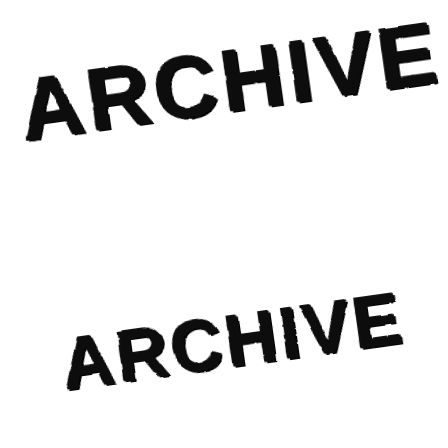[Figure (illustration): Two rubber stamp impressions of the word ARCHIVE in bold distressed uppercase letters. The top stamp is larger, rotated slightly counter-clockwise, positioned in the upper portion of the page. The bottom stamp is slightly smaller, also rotated counter-clockwise, positioned in the lower right area of the page. Both stamps have a worn, inky, distressed appearance on a white background.]